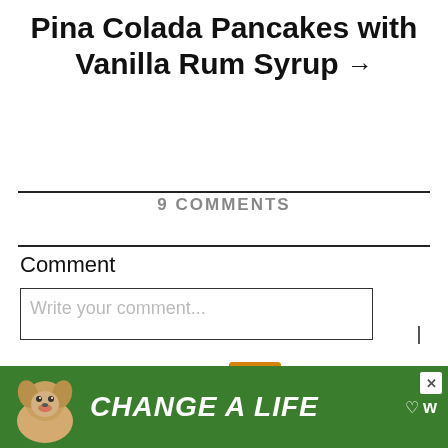Pina Colada Pancakes with Vanilla Rum Syrup →
9 COMMENTS
Comment
Write your comment...
Name *
[Figure (infographic): Sidebar with heart button showing 1.4K likes, share button, and 'WHAT'S NEXT' panel showing Old Fashioned Chicken... with food thumbnail]
[Figure (infographic): Ad banner: green background with dog photo and 'CHANGE A LIFE' text with close button and heart icon]